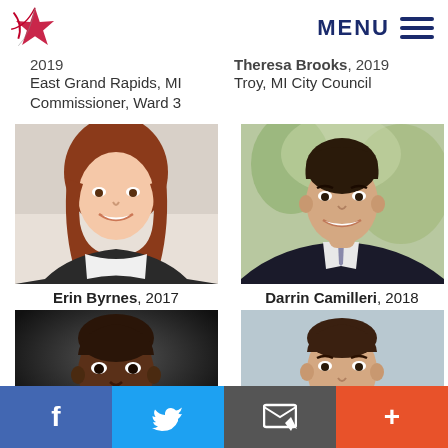[Figure (logo): Red star/firework logo icon]
MENU ≡
2019
East Grand Rapids, MI Commissioner, Ward 3
Theresa Brooks, 2019
Troy, MI City Council
[Figure (photo): Erin Byrnes headshot - woman with red/auburn hair smiling]
Erin Byrnes, 2017
Dearborn, MI City Council
[Figure (photo): Darrin Camilleri headshot - young man in dark suit smiling outdoors]
Darrin Camilleri, 2018
MI House, District 23
[Figure (photo): Bottom left - young Black man smiling]
[Figure (photo): Bottom right - man with short hair against light wall]
f  [Twitter bird]  [Email icon]  +